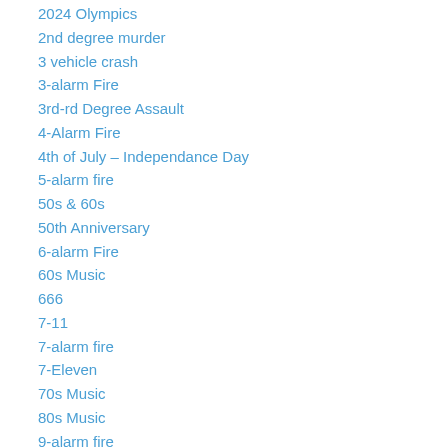2024 Olympics
2nd degree murder
3 vehicle crash
3-alarm Fire
3rd-rd Degree Assault
4-Alarm Fire
4th of July – Independance Day
5-alarm fire
50s & 60s
50th Anniversary
6-alarm Fire
60s Music
666
7-11
7-alarm fire
7-Eleven
70s Music
80s Music
9-alarm fire
9/11